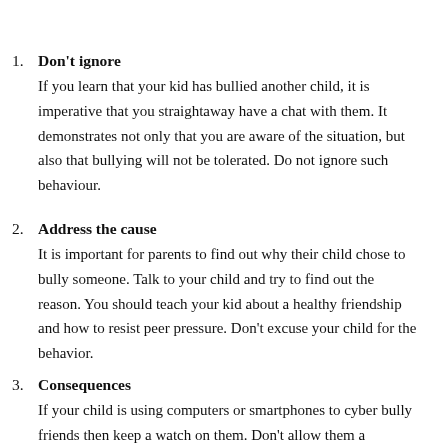1. Don't ignore
If you learn that your kid has bullied another child, it is imperative that you straightaway have a chat with them. It demonstrates not only that you are aware of the situation, but also that bullying will not be tolerated. Do not ignore such behaviour.
2. Address the cause
It is important for parents to find out why their child chose to bully someone. Talk to your child and try to find out the reason. You should teach your kid about a healthy friendship and how to resist peer pressure. Don't excuse your child for the behavior.
3. Consequences
If your child is using computers or smartphones to cyber bully friends then keep a watch on them. Don't allow them a free run with their gadgets. You can regulate how your child